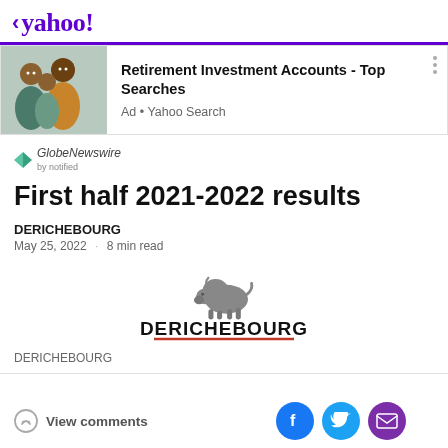< yahoo!
[Figure (photo): Advertisement banner with family photo: Retirement Investment Accounts - Top Searches. Ad • Yahoo Search]
[Figure (logo): GlobeNewswire by notified logo]
First half 2021-2022 results
DERICHEBOURG
May 25, 2022 · 8 min read
[Figure (logo): DERICHEBOURG company logo with bison graphic and red underline]
DERICHEBOURG
View comments | Facebook | Twitter | Email share buttons